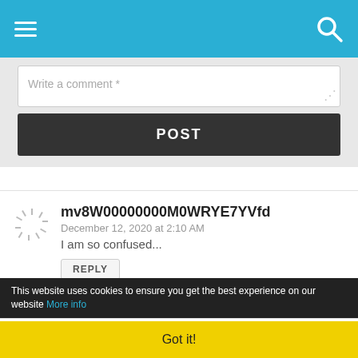Navigation bar with menu and search icons
Write a comment *
POST
mv8W00000000M0WRYE7YVfd
December 12, 2020 at 2:10 AM
I am so confused...
REPLY
rudrarup guha  February 22, 2021 at 6:49 AM
i have black hair
REPLY
Dawn Withrow  March 19, 2021 at 7:25 AM
This website uses cookies to ensure you get the best experience on our website More info
Got it!